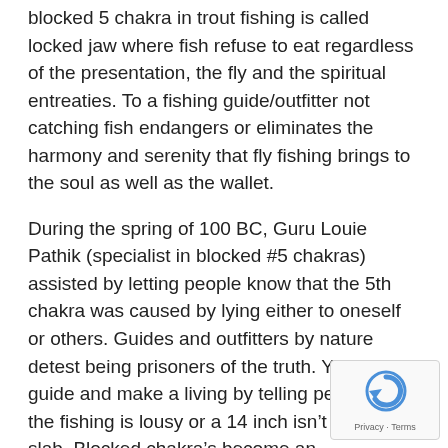blocked 5 chakra in trout fishing is called locked jaw where fish refuse to eat regardless of the presentation, the fly and the spiritual entreaties. To a fishing guide/outfitter not catching fish endangers or eliminates the harmony and serenity that fly fishing brings to the soul as well as the wallet.
During the spring of 100 BC, Guru Louie Pathik (specialist in blocked #5 chakras) assisted by letting people know that the 5th chakra was caused by lying either to oneself or others. Guides and outfitters by nature detest being prisoners of the truth. You can't guide and make a living by telling people that the fishing is lousy or a 14 inch isn't a 20 inch slab. Blocked chakra's become an occupational hazard.
Fishing for Trout